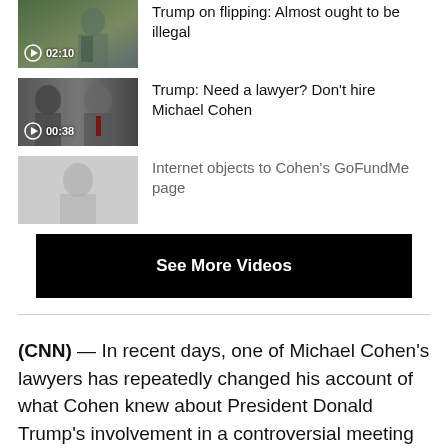[Figure (screenshot): Video thumbnail: Trump on flipping, with play button and 02:10 duration]
Trump on flipping: Almost ought to be illegal
[Figure (screenshot): Video thumbnail: Michael Cohen and Trump, with play button and 00:38 duration]
Trump: Need a lawyer? Don't hire Michael Cohen
[Figure (screenshot): Video thumbnail: faded image with person, no duration shown]
Internet objects to Cohen's GoFundMe page
See More Videos
(CNN) — In recent days, one of Michael Cohen's lawyers has repeatedly changed his account of what Cohen knew about President Donald Trump's involvement in a controversial meeting during the 2016 campaign.